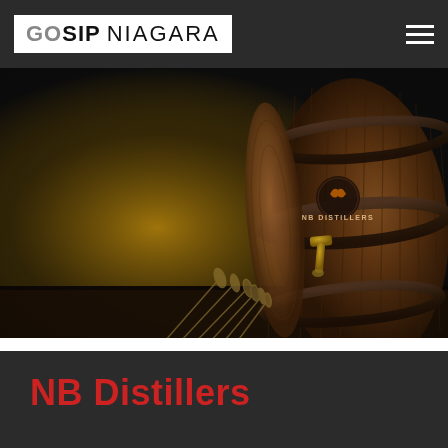GOSIP NIAGARA
[Figure (photo): Dark studio photo of a wooden whiskey barrel on its side with a brass spigot, labeled 'NB DISTILLERS', against a dark background with a golden-yellow glow and wheat stalks in the foreground.]
NB Distillers